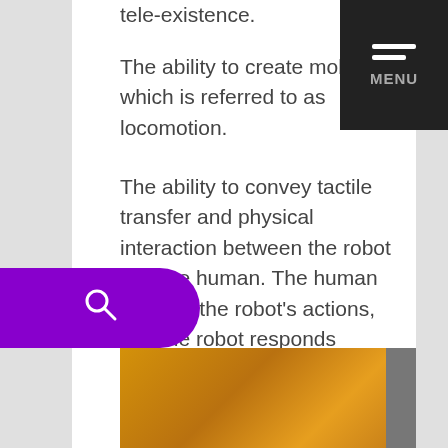tele-existence.
The ability to create mobility, which is referred to as locomotion.
The ability to convey tactile transfer and physical interaction between the robot and the human. The human controls the robot's actions, and the robot responds according to the human's actions and conveys tactile sensation to the human.
Another example of a use case is transforming education and history research with haptics. The research aims to explore how haptic technologies combined with VR can better engage viewers in the museum and heritage sectors.
[Figure (photo): Partial view of a golden/warm-toned image, appears to show artifacts or objects, partially obscured]